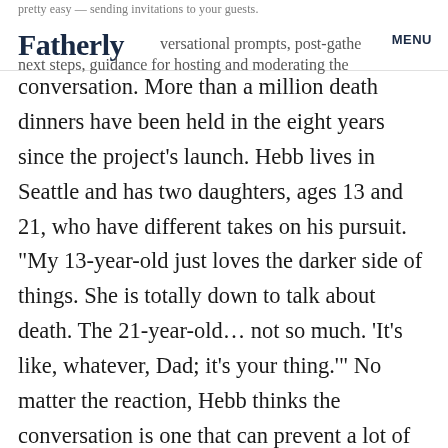pretty easy — sending invitations to your guests. Fatherly  MENU  conversational prompts, post-gathering next steps, guidance for hosting and moderating the
next steps, guidance for hosting and moderating the conversation. More than a million death dinners have been held in the eight years since the project's launch. Hebb lives in Seattle and has two daughters, ages 13 and 21, who have different takes on his pursuit. “My 13-year-old just loves the darker side of things. She is totally down to talk about death. The 21-year-old… not so much. ‘It’s like, whatever, Dad; it’s your thing.’” No matter the reaction, Hebb thinks the conversation is one that can prevent a lot of pain and suffering. “The activity of talking about hard things — sex, death, trauma — it builds this muscle of vulnerability. It’s essential for empathy, connection,